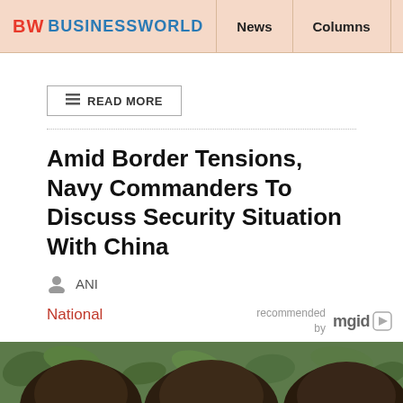BW BUSINESSWORLD | News | Columns | Interviews | BW
READ MORE
Amid Border Tensions, Navy Commanders To Discuss Security Situation With China
ANI
National
Amid border tensions, Navy commanders to discuss security situation with China
READ MORE
[Figure (photo): Photo strip showing people with dark hair against green/foliage background]